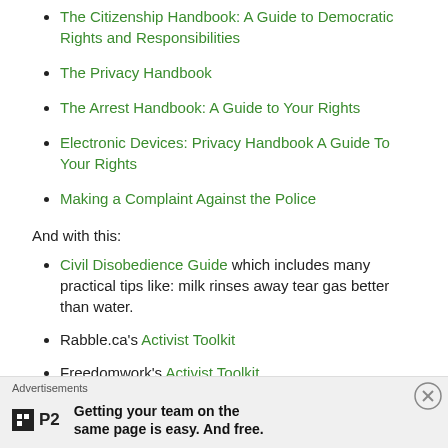The Citizenship Handbook: A Guide to Democratic Rights and Responsibilities
The Privacy Handbook
The Arrest Handbook: A Guide to Your Rights
Electronic Devices: Privacy Handbook A Guide To Your Rights
Making a Complaint Against the Police
And with this:
Civil Disobedience Guide which includes many practical tips like: milk rinses away tear gas better than water.
Rabble.ca's Activist Toolkit
Freedomwork's Activist Toolkit
Advertisements
Getting your team on the same page is easy. And free.